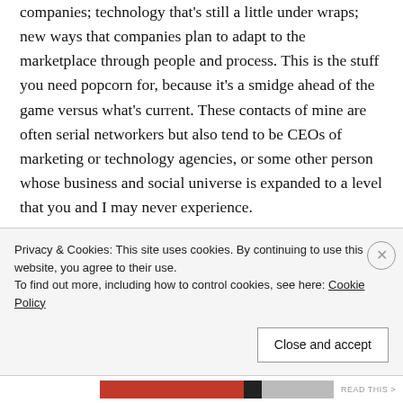companies; technology that's still a little under wraps; new ways that companies plan to adapt to the marketplace through people and process. This is the stuff you need popcorn for, because it's a smidge ahead of the game versus what's current. These contacts of mine are often serial networkers but also tend to be CEOs of marketing or technology agencies, or some other person whose business and social universe is expanded to a level that you and I may never experience.
I'm not gonna lie, it's not easy to find these people
Privacy & Cookies: This site uses cookies. By continuing to use this website, you agree to their use.
To find out more, including how to control cookies, see here: Cookie Policy
Close and accept